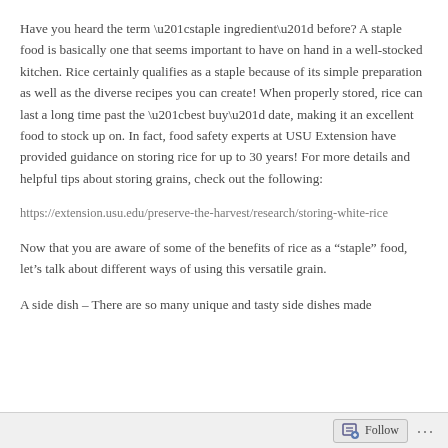Have you heard the term “staple ingredient” before? A staple food is basically one that seems important to have on hand in a well-stocked kitchen. Rice certainly qualifies as a staple because of its simple preparation as well as the diverse recipes you can create! When properly stored, rice can last a long time past the “best buy” date, making it an excellent food to stock up on. In fact, food safety experts at USU Extension have provided guidance on storing rice for up to 30 years! For more details and helpful tips about storing grains, check out the following:
https://extension.usu.edu/preserve-the-harvest/research/storing-white-rice
Now that you are aware of some of the benefits of rice as a “staple” food, let’s talk about different ways of using this versatile grain.
A side dish – There are so many unique and tasty side dishes made
Follow